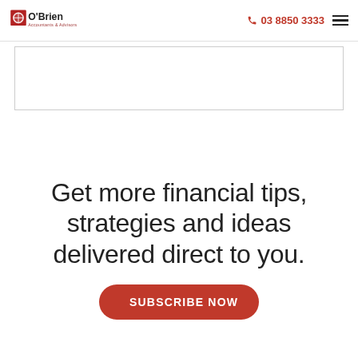O'Brien Accountants & Advisors | 03 8850 3333
Get more financial tips, strategies and ideas delivered direct to you.
SUBSCRIBE NOW